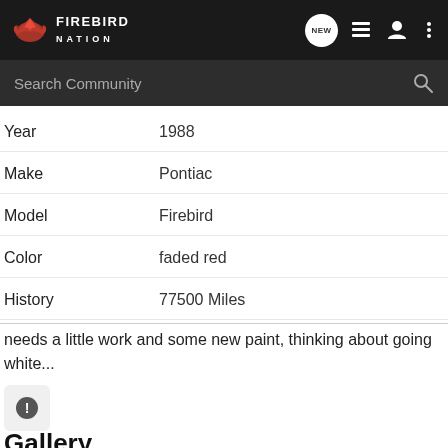Firebird Nation
Search Community
Year: 1988
Make: Pontiac
Model: Firebird
Color: faded red
History: 77500 Miles
needs a little work and some new paint, thinking about going white...
Gallery